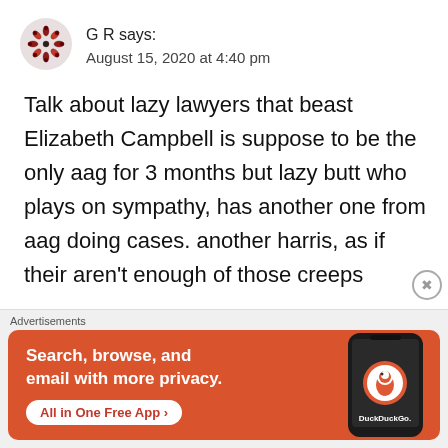[Figure (other): Avatar image: decorative circular snowflake-like pattern in red and dark red]
G R says:
August 15, 2020 at 4:40 pm
Talk about lazy lawyers that beast Elizabeth Campbell is suppose to be the only aag for 3 months but lazy butt who plays on sympathy, has another one from aag doing cases. another harris, as if their aren't enough of those creeps
Advertisements
[Figure (screenshot): DuckDuckGo advertisement banner on orange-red background. Text: 'Search, browse, and email with more privacy. All in One Free App'. Shows a smartphone with DuckDuckGo logo and branding.]